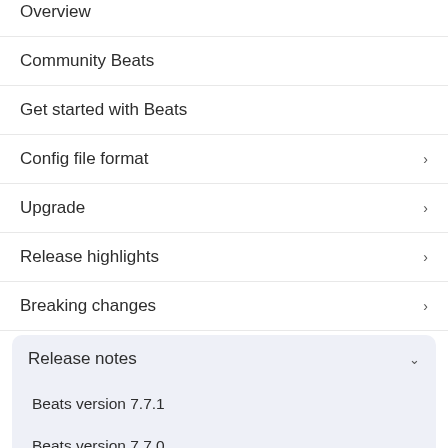Overview
Community Beats
Get started with Beats
Config file format
Upgrade
Release highlights
Breaking changes
Release notes
Beats version 7.7.1
Beats version 7.7.0
Beats version 7.6.2